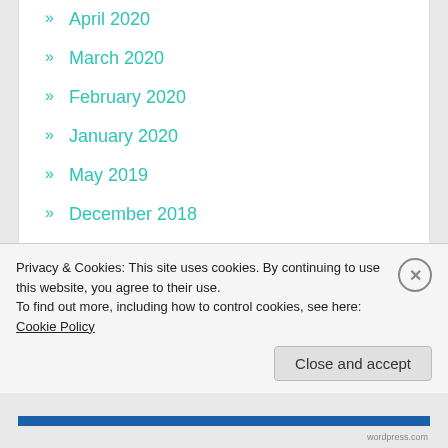» April 2020
» March 2020
» February 2020
» January 2020
» May 2019
» December 2018
» July 2018
» June 2018
» May 2018
» April 2018
» March 2018
Privacy & Cookies: This site uses cookies. By continuing to use this website, you agree to their use. To find out more, including how to control cookies, see here: Cookie Policy
Close and accept